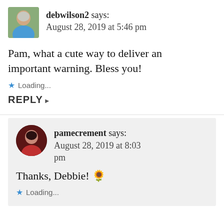[Figure (photo): Small rectangular avatar photo of a woman with short gray hair wearing a blue top, outdoors background]
debwilson2 says:
August 28, 2019 at 5:46 pm
Pam, what a cute way to deliver an important warning. Bless you!
★ Loading...
REPLY ▶
[Figure (photo): Small circular avatar photo of a woman with dark hair wearing a red top, smiling]
pamecrement says:
August 28, 2019 at 8:03 pm
Thanks, Debbie! 🌻
★ Loading...